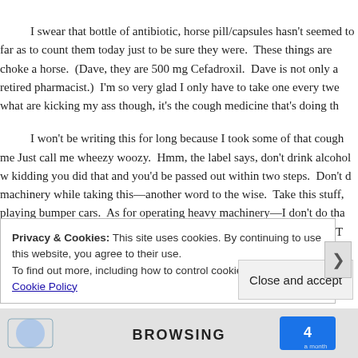I swear that bottle of antibiotic, horse pill/capsules hasn't seemed to far as to count them today just to be sure they were.  These things are choke a horse.  (Dave, they are 500 mg Cefadroxil.  Dave is not only a retired pharmacist.)  I'm so very glad I only have to take one every twe what are kicking my ass though, it's the cough medicine that's doing th
I won't be writing this for long because I took some of that cough me Just call me wheezy woozy.  Hmm, the label says, don't drink alcohol w kidding you did that and you'd be passed out within two steps.  Don't d machinery while taking this—another word to the wise.  Take this stuff, playing bumper cars.  As for operating heavy machinery—I don't do tha are all quite safe.  Now it's time to say good bye to all our company…T
Privacy & Cookies: This site uses cookies. By continuing to use this website, you agree to their use.
To find out more, including how to control cookies, see here: Cookie Policy
Close and accept
[Figure (other): Bottom advertisement bar with 'BROWSING' text and a logo/icon on the right side]